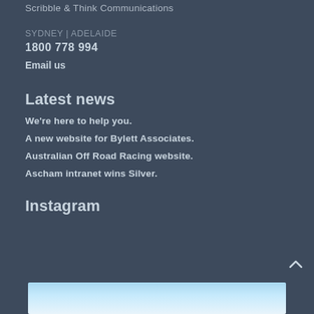Scribble & Think Communications
SYDNEY | ADELAIDE
1800 778 994
Email us
Latest news
We're here to help you.
A new website for Bylett Associates.
Australian Off Road Racing website.
Ascham intranet wins Silver.
Instagram
[Figure (photo): Instagram image showing a light blue sky gradient photo]